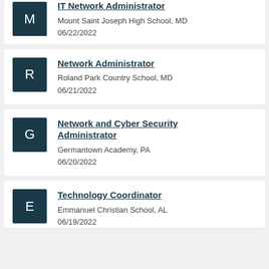IT Network Administrator — Mount Saint Joseph High School, MD — 06/22/2022
Network Administrator — Roland Park Country School, MD — 06/21/2022
Network and Cyber Security Administrator — Germantown Academy, PA — 06/20/2022
Technology Coordinator — Emmanuel Christian School, AL — 06/19/2022